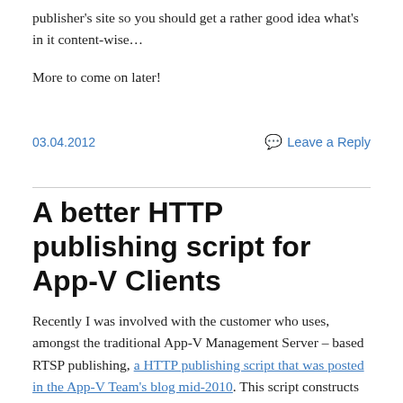publisher's site so you should get a rather good idea what's in it content-wise…
More to come on later!
03.04.2012
Leave a Reply
A better HTTP publishing script for App-V Clients
Recently I was involved with the customer who uses, amongst the traditional App-V Management Server – based RTSP publishing, a HTTP publishing script that was posted in the App-V Team's blog mid-2010. This script constructs necessary APPLIST information out of manifest XML files detected on a virtual directory, but unfortunately